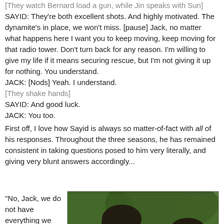[They watch Bernard load a gun, while Jin speaks with Sun] SAYID: They're both excellent shots. And highly motivated. The dynamite's in place, we won't miss. [pause] Jack, no matter what happens here I want you to keep moving, keep moving for that radio tower. Don't turn back for any reason. I'm willing to give my life if it means securing rescue, but I'm not giving it up for nothing. You understand.
JACK: [Nods] Yeah. I understand.
[They shake hands]
SAYID: And good luck.
JACK: You too.
First off, I love how Sayid is always so matter-of-fact with all of his responses. Throughout the three seasons, he has remained consistent in taking questions posed to him very literally, and giving very blunt answers accordingly...
"No, Jack, we do not have everything we need. If
[Figure (photo): Two men facing each other in an outdoor jungle setting, one with curly dark hair and a beard (Sayid) and another partially visible]